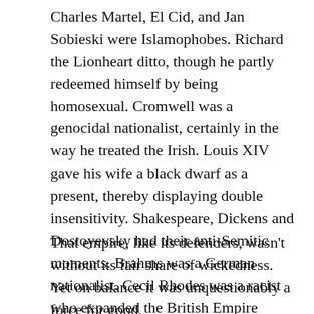Charles Martel, El Cid, and Jan Sobieski were Islamophobes. Richard the Lionheart ditto, though he partly redeemed himself by being homosexual. Cromwell was a genocidal nationalist, certainly in the way he treated the Irish. Louis XIV gave his wife a black dwarf as a present, thereby displaying double insensitivity. Shakespeare, Dickens and Dostoyevsky had their anti-Semitic moments. Brahms was a German nationalist. Cecil Rhodes was a racist who expanded the British Empire Nelson gave his life to protect.
That empire, like its defenders, wasn't without its fair share of wickedness. Yet on balance it was unquestionably a force for good,